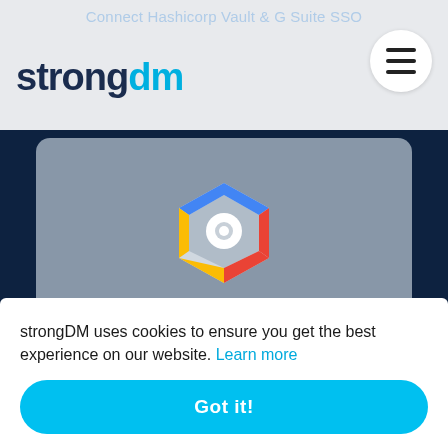Connect Hashicorp Vault & G Suite SSO
[Figure (logo): strongDM logo with 'strong' in dark navy and 'dm' in cyan/blue]
[Figure (illustration): Google Cloud Platform (GCP) hexagonal logo on gray card background]
Connect Hashicorp Vault & GCP
strongDM uses cookies to ensure you get the best experience on our website. Learn more
Got it!